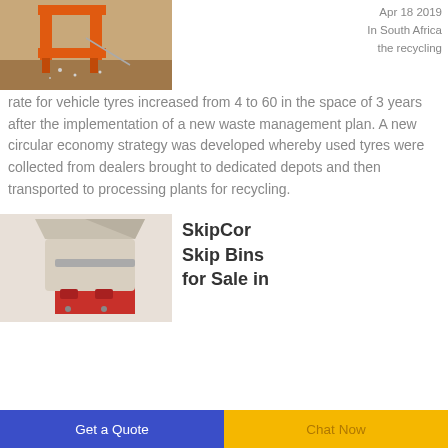[Figure (photo): Orange metal industrial machine/shredder equipment on a floor with scattered debris]
Apr 18 2019
In South Africa the recycling rate for vehicle tyres increased from 4 to 60 in the space of 3 years after the implementation of a new waste management plan. A new circular economy strategy was developed whereby used tyres were collected from dealers brought to dedicated depots and then transported to processing plants for recycling.
[Figure (photo): Beige and red industrial shredder/crusher machine]
SkipCor Skip Bins for Sale in
Get a Quote
Chat Now